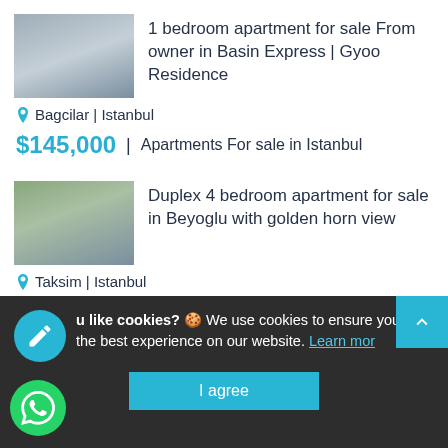[Figure (photo): Interior photo of a bedroom/apartment for sale]
1 bedroom apartment for sale From owner in Basin Express | Gyoo Residence
📍 Bagcilar | Istanbul
$145,000  |  Apartments For sale in Istanbul
[Figure (photo): Exterior photo of duplex apartment building in Beyoglu with golden horn view]
Duplex 4 bedroom apartment for sale in Beyoglu with golden horn view
📍 Taksim | Istanbul
$186,000  |  Apartments For sale in Istanbul
[Figure (photo): Partial thumbnail of a third property listing]
Do you like cookies? 🍪 We use cookies to ensure you get the best experience on our website. Learn more
I agree